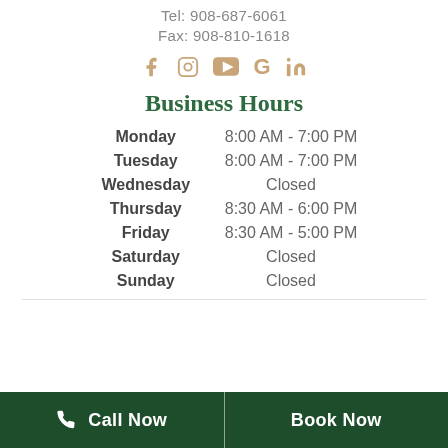Tel: 908-687-6061
Fax: 908-810-1618
[Figure (infographic): Social media icons: Facebook, Instagram, YouTube, Google, LinkedIn in tan/gold color]
Business Hours
| Day | Hours |
| --- | --- |
| Monday | 8:00 AM - 7:00 PM |
| Tuesday | 8:00 AM - 7:00 PM |
| Wednesday | Closed |
| Thursday | 8:30 AM - 6:00 PM |
| Friday | 8:30 AM - 5:00 PM |
| Saturday | Closed |
| Sunday | Closed |
Call Now | Book Now